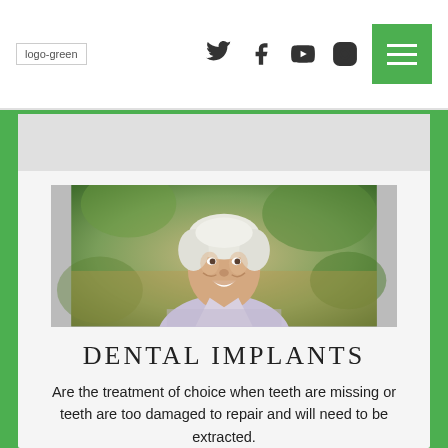logo-green | social icons (Twitter, Facebook, YouTube, Instagram) | hamburger menu
[Figure (photo): Smiling older man with white/silver hair wearing a light blue checked shirt, photographed outdoors with blurred green foliage background]
DENTAL IMPLANTS
Are the treatment of choice when teeth are missing or teeth are too damaged to repair and will need to be extracted.